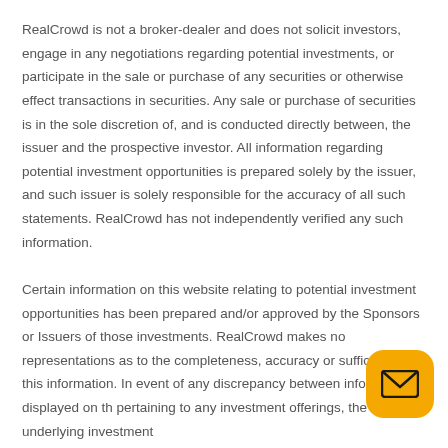RealCrowd is not a broker-dealer and does not solicit investors, engage in any negotiations regarding potential investments, or participate in the sale or purchase of any securities or otherwise effect transactions in securities. Any sale or purchase of securities is in the sole discretion of, and is conducted directly between, the issuer and the prospective investor. All information regarding potential investment opportunities is prepared solely by the issuer, and such issuer is solely responsible for the accuracy of all such statements. RealCrowd has not independently verified any such information.

Certain information on this website relating to potential investment opportunities has been prepared and/or approved by the Sponsors or Issuers of those investments. RealCrowd makes no representations as to the completeness, accuracy or sufficiency of this information. In event of any discrepancy between information displayed on th pertaining to any investment offerings, the underlying investment